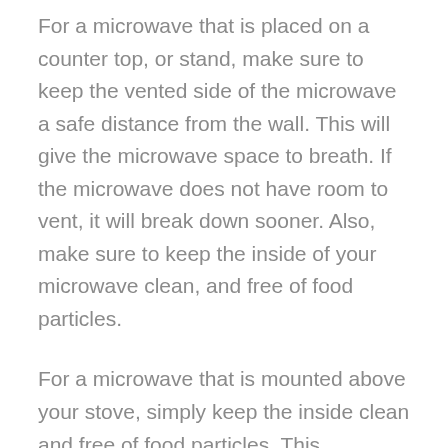For a microwave that is placed on a counter top, or stand, make sure to keep the vented side of the microwave a safe distance from the wall. This will give the microwave space to breath. If the microwave does not have room to vent, it will break down sooner. Also, make sure to keep the inside of your microwave clean, and free of food particles.
For a microwave that is mounted above your stove, simply keep the inside clean and free of food particles. This particular placement alone allows your microwave to vent properly.
Following these steps listed above will help to